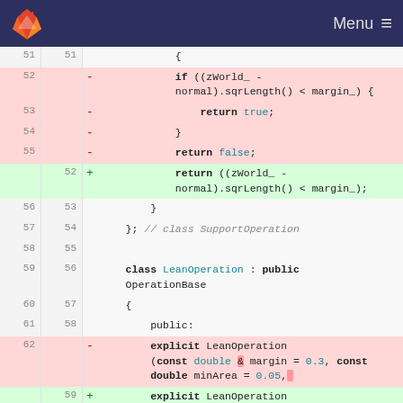GitLab — Menu
[Figure (screenshot): GitLab code diff view showing changes to C++ source code with removed lines (pink) and added lines (green). Lines 51-62 old and 51-59 new are shown.]